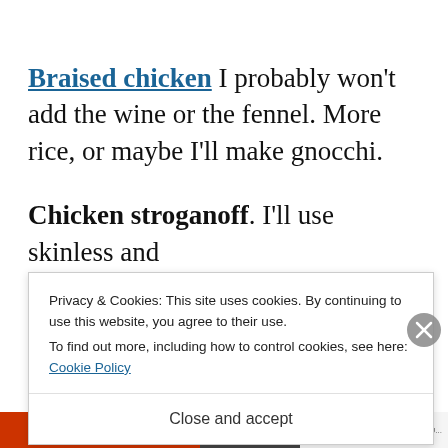Braised chicken I probably won't add the wine or the fennel. More rice, or maybe I'll make gnocchi.
Chicken stroganoff. I'll use skinless and boneless chicken. I may also find some cream. I'll...
Privacy & Cookies: This site uses cookies. By continuing to use this website, you agree to their use. To find out more, including how to control cookies, see here: Cookie Policy
Close and accept